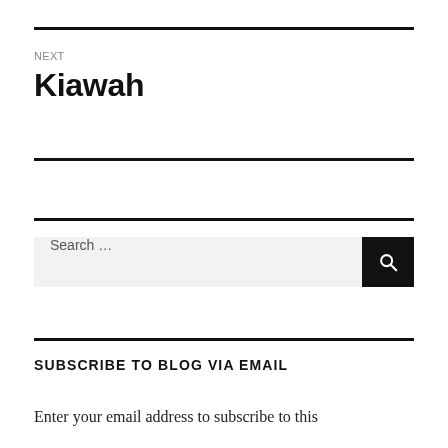NEXT
Kiawah
Search …
SUBSCRIBE TO BLOG VIA EMAIL
Enter your email address to subscribe to this